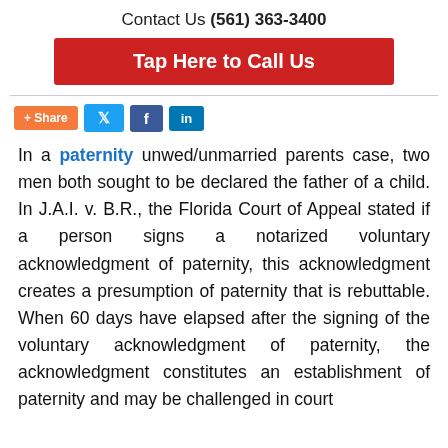Contact Us (561) 363-3400
Tap Here to Call Us
[Figure (other): Social sharing buttons: +Share, Twitter, Facebook, LinkedIn]
In a paternity unwed/unmarried parents case, two men both sought to be declared the father of a child. In J.A.I. v. B.R., the Florida Court of Appeal stated if a person signs a notarized voluntary acknowledgment of paternity, this acknowledgment creates a presumption of paternity that is rebuttable. When 60 days have elapsed after the signing of the voluntary acknowledgment of paternity, the acknowledgment constitutes an establishment of paternity and may be challenged in court